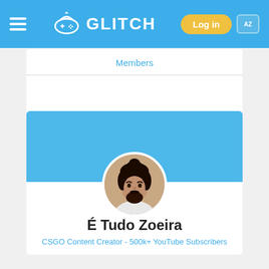GLITCH — Log in
Members
[Figure (photo): Profile photo of É Tudo Zoeira: man with dark hair styled upward and beard, circular cropped portrait]
É Tudo Zoeira
CSGO Content Creator - 500k+ YouTube Subscribers